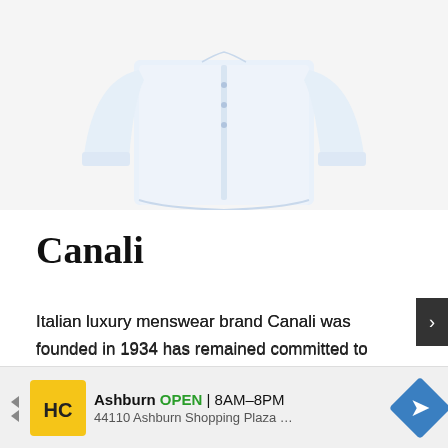[Figure (photo): A white dress shirt with long sleeves displayed on a white/light grey background, showing the front of the garment with buttons visible.]
Canali
Italian luxury menswear brand Canali was founded in 1934 has remained committed to achieving the art of excellence through its tailoring collections ever since. ... you'll
[Figure (other): Advertisement bar: HC logo in yellow square, Ashburn OPEN 8AM-8PM, 44110 Ashburn Shopping Plaza ..., blue diamond navigation icon, next arrow button on right.]